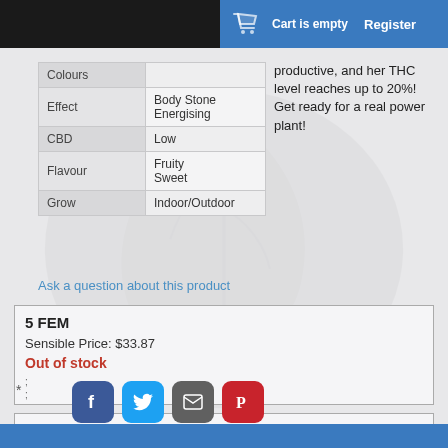Cart is empty   Register
|  |  |
| --- | --- |
| Colours |  |
| Effect | Body Stone
Energising |
| CBD | Low |
| Flavour | Fruity
Sweet |
| Grow | Indoor/Outdoor |
productive, and her THC level reaches up to 20%! Get ready for a real power plant!
Ask a question about this product
5 FEM
Sensible Price: $33.87
Out of stock
;
;
10 FEM
Sensible Price: $55.82
Out of stock
;
;
*
[Figure (screenshot): Social share icons: Facebook, Twitter, Email, Pinterest]